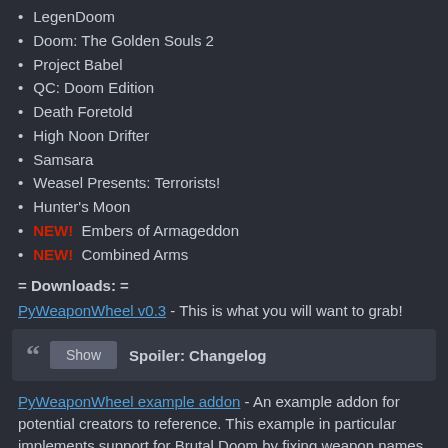LegenDoom
Doom: The Golden Souls 2
Project Babel
QC: Doom Edition
Death Foretold
High Noon Drifter
Samsara
Weasel Presents: Terrorists!
Hunter's Moon
NEW! Embers of Armageddon
NEW! Combined Arms
= Downloads: =
PyWeaponWheel v0.3 - This is what you will want to grab!
Show  Spoiler: Changelog
PyWeaponWheel example addon - An example addon for potential creators to reference. This example in particular implements support for Brutal Doom by fixing weapon names, icons, and more.
Show  Spoiler: Old Versions